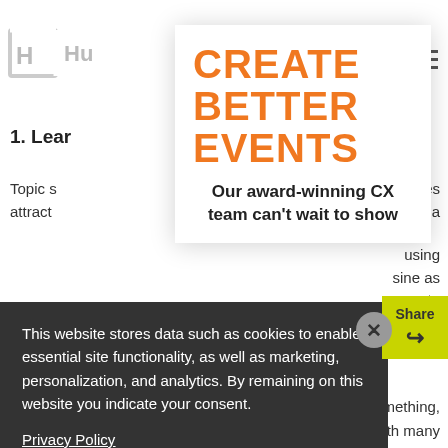Hu [logo] CREATE BETTER EVENTS
1. Lear
Topic s... attract... and a... using ... sine as... separate
[Figure (screenshot): Popup modal overlay showing 'CREATE BETTER EVENTS' in orange bold text, with subtitle 'Our award-winning CX team can’t wait to show']
This website stores data such as cookies to enable essential site functionality, as well as marketing, personalization, and analytics. By remaining on this website you indicate your consent.
Privacy Policy
omething, with many s campaign. ve and brought the campaign to an optimistic end.